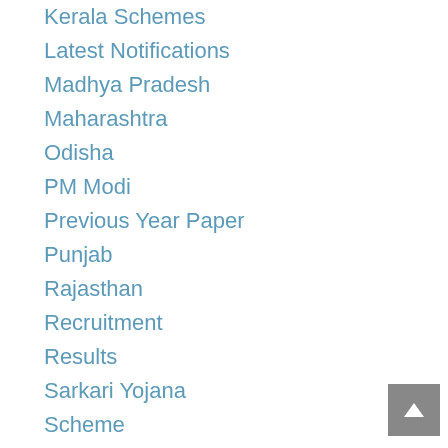Kerala Schemes
Latest Notifications
Madhya Pradesh
Maharashtra
Odisha
PM Modi
Previous Year Paper
Punjab
Rajasthan
Recruitment
Results
Sarkari Yojana
Scheme
Solved Paper
Tamil Nadu